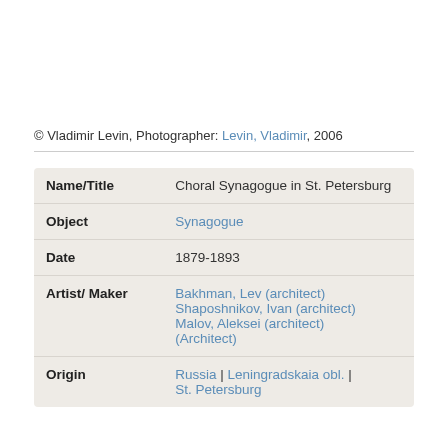© Vladimir Levin, Photographer: Levin, Vladimir, 2006
| Field | Value |
| --- | --- |
| Name/Title | Choral Synagogue in St. Petersburg |
| Object | Synagogue |
| Date | 1879-1893 |
| Artist/ Maker | Bakhman, Lev (architect)
Shaposhnikov, Ivan (architect)
Malov, Aleksei (architect)
(Architect) |
| Origin | Russia | Leningradskaia obl. | St. Petersburg |